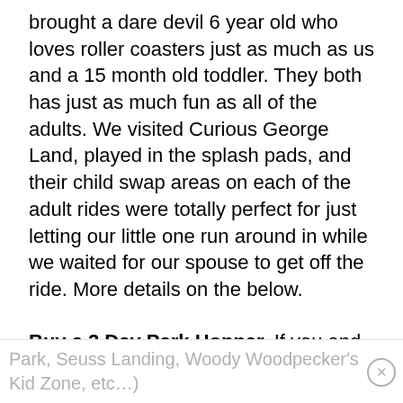brought a dare devil 6 year old who loves roller coasters just as much as us and a 15 month old toddler. They both has just as much fun as all of the adults. We visited Curious George Land, played in the splash pads, and their child swap areas on each of the adult rides were totally perfect for just letting our little one run around in while we waited for our spouse to get off the ride. More details on the below.
Buy a 2 Day Park Hopper. If you and your family are as big of Harry Potter Fans as we are, this is a necessity! You could spend a whole day by itself visiting Hogsmeade and Diagon Alley. There is so much to Universal Studios that you don't want to miss out on (Toon Lagoon, Jurassic
Park, Seuss Landing, Woody Woodpecker's Kid Zone, etc…)